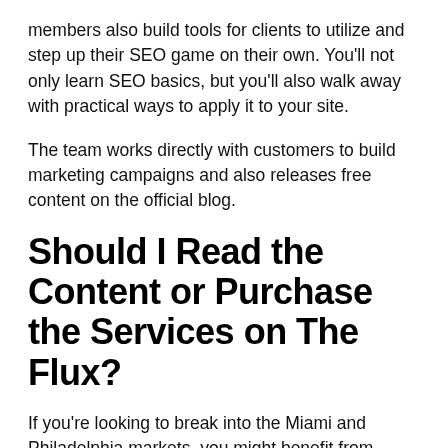members also build tools for clients to utilize and step up their SEO game on their own. You'll not only learn SEO basics, but you'll also walk away with practical ways to apply it to your site.
The team works directly with customers to build marketing campaigns and also releases free content on the official blog.
Should I Read the Content or Purchase the Services on The Flux?
If you're looking to break into the Miami and Philadelphia markets, you might benefit from partnering with this media company. Businesses that produce many products and always need marketing campaigns could also benefit from partnering with The Flux team. Those who have an in-